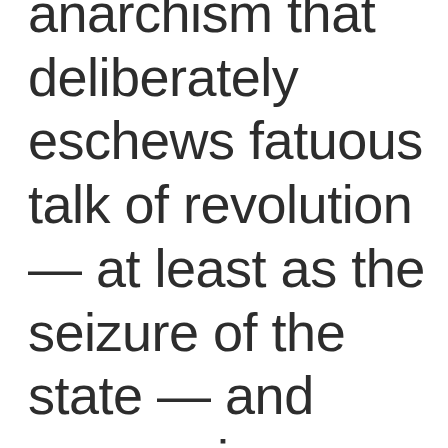anarchism that deliberately eschews fatuous talk of revolution — at least as the seizure of the state — and economic